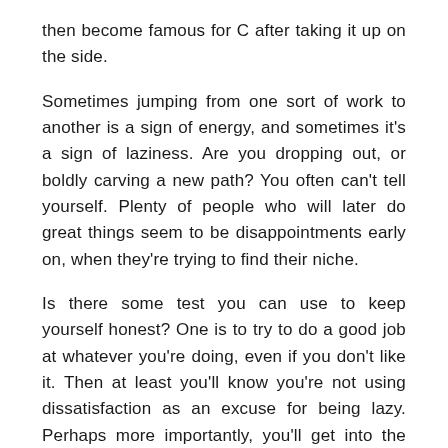then become famous for C after taking it up on the side.
Sometimes jumping from one sort of work to another is a sign of energy, and sometimes it's a sign of laziness. Are you dropping out, or boldly carving a new path? You often can't tell yourself. Plenty of people who will later do great things seem to be disappointments early on, when they're trying to find their niche.
Is there some test you can use to keep yourself honest? One is to try to do a good job at whatever you're doing, even if you don't like it. Then at least you'll know you're not using dissatisfaction as an excuse for being lazy. Perhaps more importantly, you'll get into the habit of doing things well.
Another test you can use is: always produce. For example, if you have a day job you don't take seriously because you